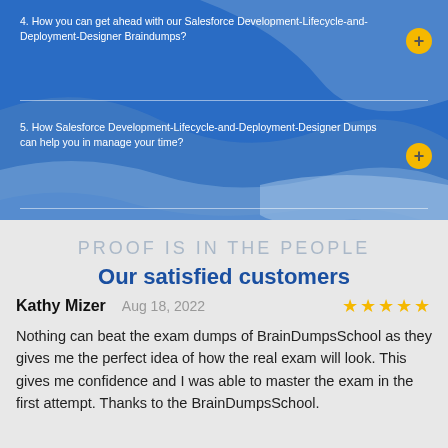4. How you can get ahead with our Salesforce Development-Lifecycle-and-Deployment-Designer Braindumps?
5. How Salesforce Development-Lifecycle-and-Deployment-Designer Dumps can help you in manage your time?
PROOF IS IN THE PEOPLE
Our satisfied customers
Kathy Mizer   Aug 18, 2022   ★★★★★
Nothing can beat the exam dumps of BrainDumpsSchool as they gives me the perfect idea of how the real exam will look. This gives me confidence and I was able to master the exam in the first attempt. Thanks to the BrainDumpsSchool.